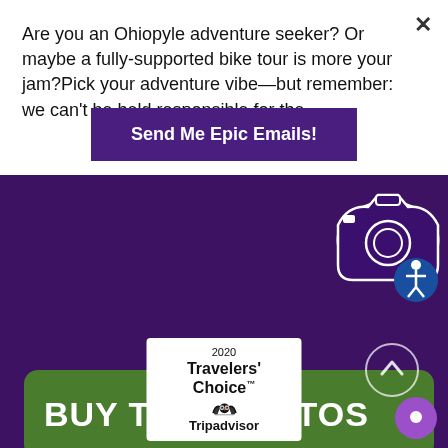Are you an Ohiopyle adventure seeker? Or maybe a fully-supported bike tour is more your jam?Pick your adventure vibe—but remember: we can't be held responsible for the
Send Me Epic Emails!
[Figure (screenshot): Green banner with white bold text BUY TRIP PHOTOS and camera icon with accessibility symbol]
[Figure (logo): 2020 Travelers Choice Tripadvisor badge with owl logo on white background]
[Figure (other): Scroll-up arrow circle button in light purple outline]
[Figure (other): Purple chat bubble button in bottom right corner]